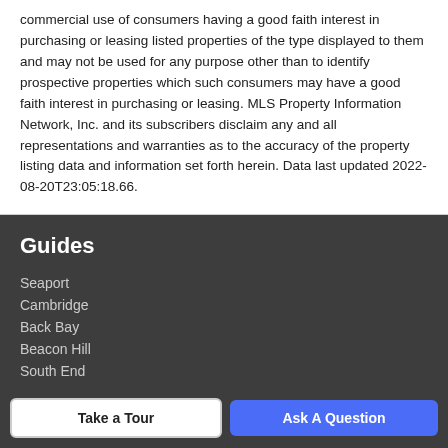commercial use of consumers having a good faith interest in purchasing or leasing listed properties of the type displayed to them and may not be used for any purpose other than to identify prospective properties which such consumers may have a good faith interest in purchasing or leasing. MLS Property Information Network, Inc. and its subscribers disclaim any and all representations and warranties as to the accuracy of the property listing data and information set forth herein. Data last updated 2022-08-20T23:05:18.66.
Guides
Seaport
Cambridge
Back Bay
Beacon Hill
South End
More Guides >
Take a Tour
Ask A Question